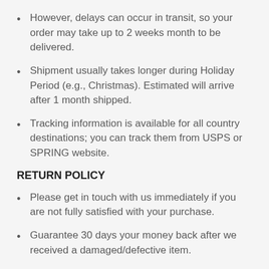However, delays can occur in transit, so your order may take up to 2 weeks month to be delivered.
Shipment usually takes longer during Holiday Period (e.g., Christmas). Estimated will arrive after 1 month shipped.
Tracking information is available for all country destinations; you can track them from USPS or SPRING website.
RETURN POLICY
Please get in touch with us immediately if you are not fully satisfied with your purchase.
Guarantee 30 days your money back after we received a damaged/defective item.
Shipping/handling charges are non-refundable.
Shipping Charges of Return items are the buyer's